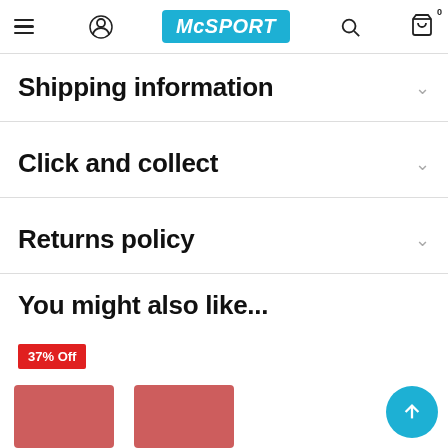McSPORT navigation header with menu, account, logo, search, and cart icons
Shipping information
Click and collect
Returns policy
You might also like...
37% Off
[Figure (photo): Partial product images visible at bottom of page, showing red/pink sports products with a 37% Off badge]